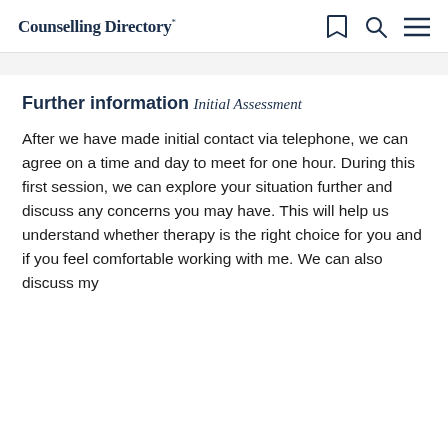Counselling Directory
Further information
Initial Assessment
After we have made initial contact via telephone, we can agree on a time and day to meet for one hour. During this first session, we can explore your situation further and discuss any concerns you may have. This will help us understand whether therapy is the right choice for you and if you feel comfortable working with me. We can also discuss my